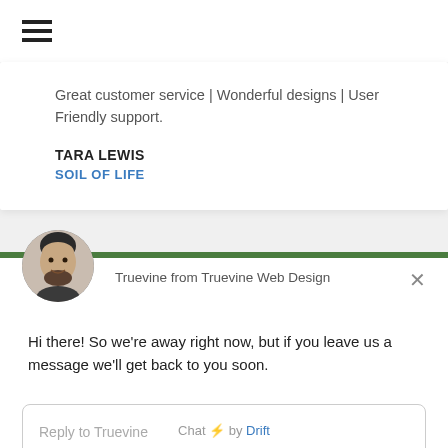[Figure (other): Hamburger menu icon (three horizontal bars) in top navigation bar]
Great customer service | Wonderful designs | User Friendly support.
TARA LEWIS
SOIL OF LIFE
[Figure (photo): Circular avatar photo of a smiling man with dark hair and beard]
Truevine from Truevine Web Design
Hi there! So we're away right now, but if you leave us a message we'll get back to you soon.
Reply to Truevine
Chat ⚡ by Drift